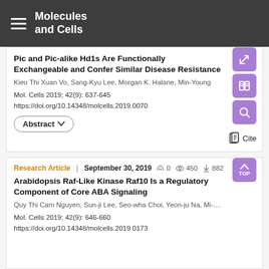Molecules and Cells
Pic and Pic-alike Hd1s Are Functionally Exchangeable and Confer Similar Disease Resistance
Kieu Thi Xuan Vo, Sang-Kyu Lee, Morgan K. Halane, Min-Young…
Mol. Cells 2019; 42(9): 637-645
https://doi.org/10.14348/molcells.2019.0070
Research Article | September 30, 2019  0  450  882
Arabidopsis Raf-Like Kinase Raf10 Is a Regulatory Component of Core ABA Signaling
Quy Thi Cam Nguyen, Sun-ji Lee, Seo-wha Choi, Yeon-ju Na, Mi-…
Mol. Cells 2019; 42(9): 646-660
https://doi.org/10.14348/molcells.2019.0173